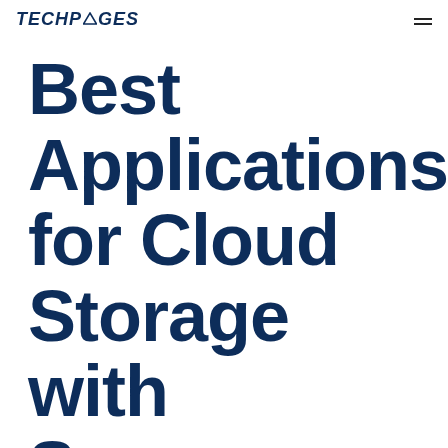TECHPAGES
Best Applications for Cloud Storage with S...